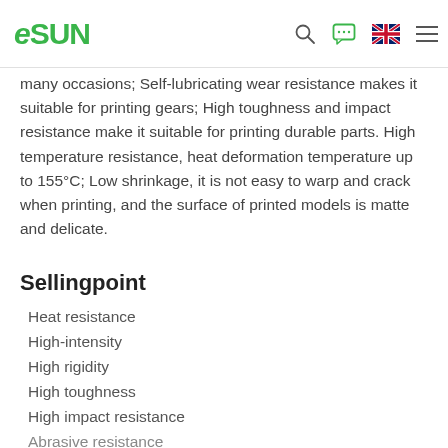eSUN
many occasions; Self-lubricating wear resistance makes it suitable for printing gears; High toughness and impact resistance make it suitable for printing durable parts. High temperature resistance, heat deformation temperature up to 155°C; Low shrinkage, it is not easy to warp and crack when printing, and the surface of printed models is matte and delicate.
Sellingpoint
Heat resistance
High-intensity
High rigidity
High toughness
High impact resistance
Abrasive resistance